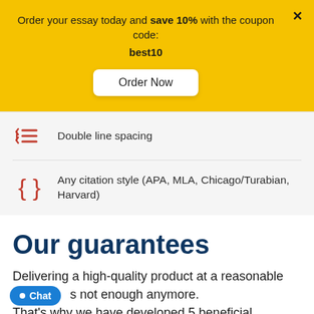Order your essay today and save 10% with the coupon code: best10
Order Now
Double line spacing
Any citation style (APA, MLA, Chicago/Turabian, Harvard)
Our guarantees
Delivering a high-quality product at a reasonable price is not enough anymore.
That's why we have developed 5 beneficial